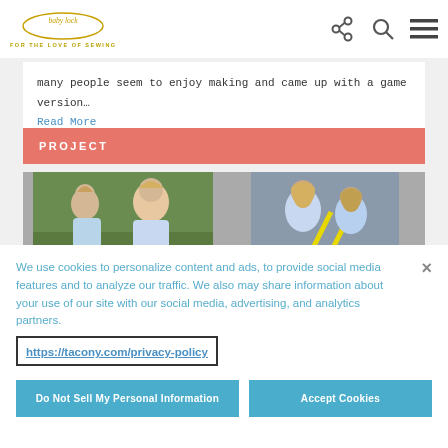baby lock - FOR THE LOVE OF SEWING
many people seem to enjoy making and came up with a game version…
Read More
PROJECT
[Figure (photo): Two young girls playing outdoors on grass (left photo) and two girls seen from behind sitting on a road (right photo)]
We use cookies to personalize content and ads, to provide social media features and to analyze our traffic. We also may share information about your use of our site with our social media, advertising, and analytics partners.
https://tacony.com/privacy-policy
Do Not Sell My Personal Information
Accept Cookies